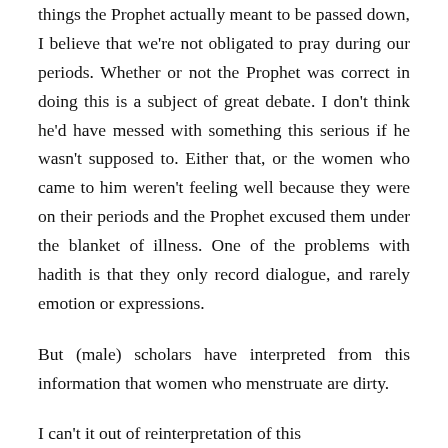things the Prophet actually meant to be passed down, I believe that we're not obligated to pray during our periods. Whether or not the Prophet was correct in doing this is a subject of great debate. I don't think he'd have messed with something this serious if he wasn't supposed to. Either that, or the women who came to him weren't feeling well because they were on their periods and the Prophet excused them under the blanket of illness. One of the problems with hadith is that they only record dialogue, and rarely emotion or expressions.
But (male) scholars have interpreted from this information that women who menstruate are dirty.
I can't it out of reinterpretation of this